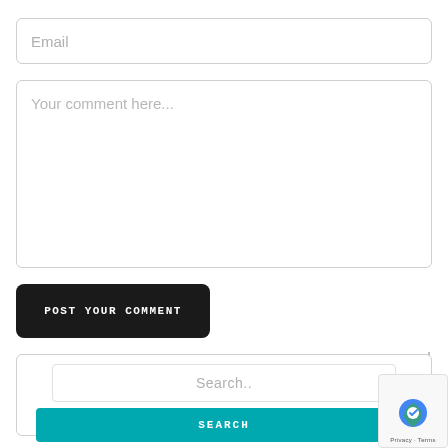[Figure (screenshot): Email input field with placeholder text 'Email']
[Figure (screenshot): Comment textarea with placeholder text 'Your comment here...']
[Figure (screenshot): Black button labeled 'POST YOUR COMMENT']
[Figure (screenshot): Search box containing a search input field with placeholder 'Search..' and a teal 'SEARCH' button]
[Figure (screenshot): reCAPTCHA badge with Privacy and Terms text and scroll-up arrow button]